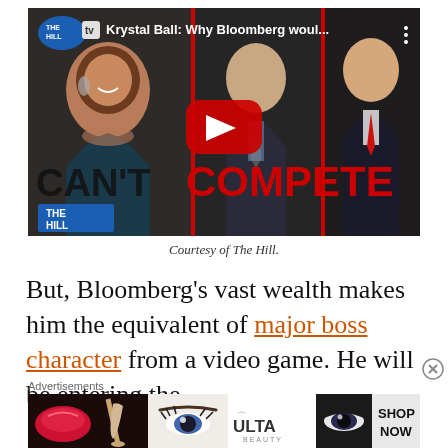[Figure (screenshot): YouTube video thumbnail from The Hill TV showing Krystal Ball with title 'Krystal Ball: Why Bloomberg woul...' and text overlay 'CAN'T COMPETE' with YouTube play button in center. Shows three people including two men in suits. The Hill logo appears bottom left.]
Courtesy of The Hill.
But, Bloomberg's vast wealth makes him the equivalent of major boss character from a video game. He will be entering the
Advertisements
[Figure (screenshot): ULTA Beauty advertisement banner showing makeup imagery with 'SHOP NOW' text on right side.]